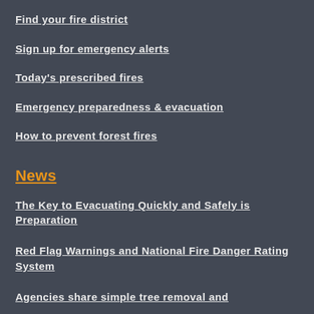Find your fire district
Sign up for emergency alerts
Today's prescribed fires
Emergency preparedness & evacuation
How to prevent forest fires
News
The Key to Evacuating Quickly and Safely is Preparation
Red Flag Warnings and National Fire Danger Rating System
Agencies share simple tree removal and